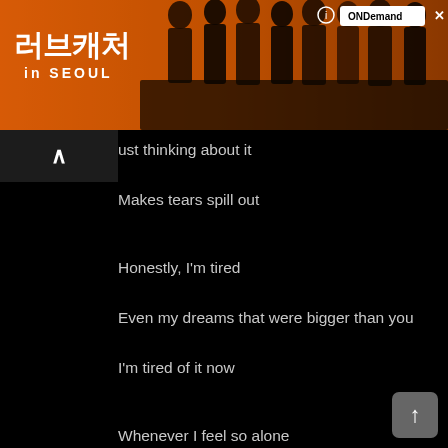[Figure (screenshot): Advertisement banner for Korean drama 'Love Catch in Seoul' (러브캐처 in SEOUL) on ONDemand. Orange/warm background with drama cast silhouettes and logos.]
just thinking about it
Makes tears spill out

Honestly, I'm tired
Even my dreams that were bigger than you
I'm tired of it now

Whenever I feel so alone
Among all the laughing people
I long for your warm comfort

I want to stop not caring for my tired self
I want to stop telling myself it's alright

Your words of comfort
When you said to take a break
I couldn't hear any of it

I'm getting tired now